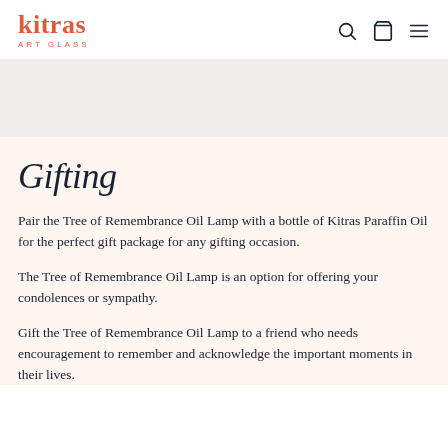kitras ART GLASS
[Figure (other): Light gray hero banner area]
Gifting
Pair the Tree of Remembrance Oil Lamp with a bottle of Kitras Paraffin Oil for the perfect gift package for any gifting occasion.
The Tree of Remembrance Oil Lamp is an option for offering your condolences or sympathy.
Gift the Tree of Remembrance Oil Lamp to a friend who needs encouragement to remember and acknowledge the important moments in their lives.